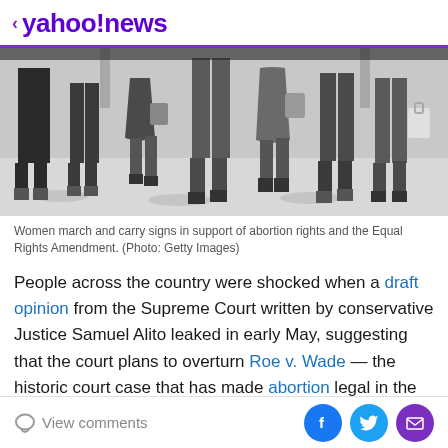< yahoo!news
[Figure (photo): Black and white photograph of women marching, showing legs and lower bodies of protesters walking on a street or plaza]
Women march and carry signs in support of abortion rights and the Equal Rights Amendment. (Photo: Getty Images)
People across the country were shocked when a draft opinion from the Supreme Court written by conservative Justice Samuel Alito leaked in early May, suggesting that the court plans to overturn Roe v. Wade — the historic court case that has made abortion legal in the U.S. for the past 50...
View comments | Facebook | Twitter | Email